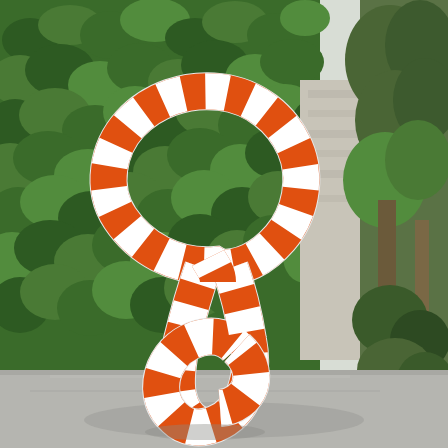[Figure (photo): Outdoor sculpture of a large orange and white striped tubular form shaped like an infinity symbol or figure-eight loop, standing upright on a concrete surface against a background of green ivy-covered walls and trees.]